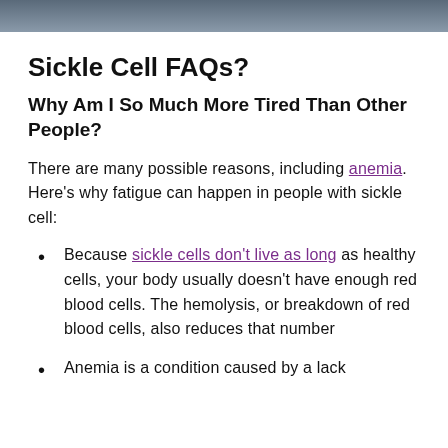[Figure (photo): Partial photo strip at top of page, showing a blurred outdoor or portrait image.]
Sickle Cell FAQs?
Why Am I So Much More Tired Than Other People?
There are many possible reasons, including anemia. Here’s why fatigue can happen in people with sickle cell:
Because sickle cells don’t live as long as healthy cells, your body usually doesn’t have enough red blood cells. The hemolysis, or breakdown of red blood cells, also reduces that number
Anemia is a condition caused by a lack